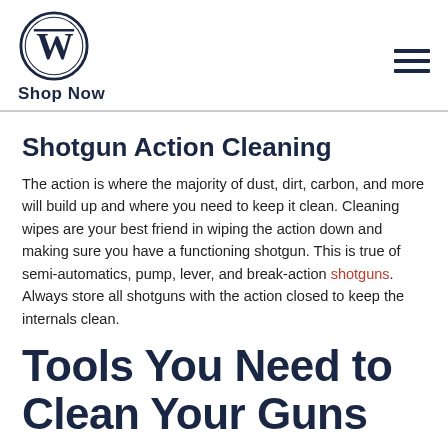Shop Now
Shotgun Action Cleaning
The action is where the majority of dust, dirt, carbon, and more will build up and where you need to keep it clean. Cleaning wipes are your best friend in wiping the action down and making sure you have a functioning shotgun. This is true of semi-automatics, pump, lever, and break-action shotguns. Always store all shotguns with the action closed to keep the internals clean.
Tools You Need to Clean Your Guns